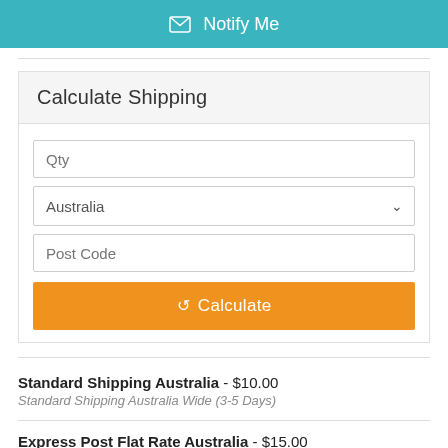✉ Notify Me
Calculate Shipping
Qty
Australia
Post Code
Calculate
Standard Shipping Australia - $10.00
Standard Shipping Australia Wide (3-5 Days)
Express Post Flat Rate Australia - $15.00